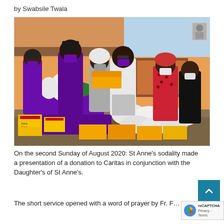by Swabsile Twala
[Figure (photo): Group of people outdoors in front of an orange building. Several women wearing purple robes and masks stand on the left. A man in a white shirt and grey pants shakes hands with one of the women, exchanging food items. On the right stand two women, one in a red patterned dress and one in a black dress, both wearing masks. A purple-covered table in front holds groceries, vegetables, and bags of food including bags of maize/flour and branded yellow food packages.]
On the second Sunday of August 2020: St Anne's sodality made a presentation of a donation to Caritas in conjunction with the Daughter's of St Anne's.
The short service opened with a word of prayer by Fr. F…